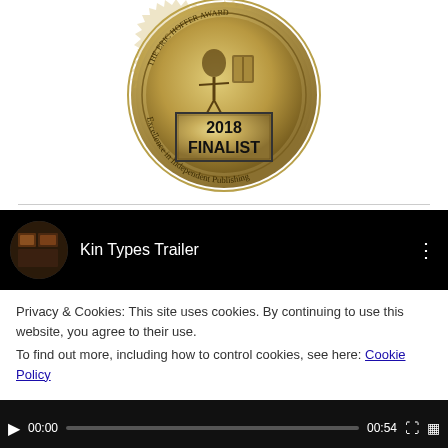[Figure (illustration): Gold/tan award medal seal with text 'Excellence in Independent Publishing' around the edge, figure of person, and a banner reading '2018 FINALIST']
[Figure (screenshot): YouTube video player screenshot showing 'Kin Types Trailer' video with a cookie consent overlay reading: 'Privacy & Cookies: This site uses cookies. By continuing to use this website, you agree to their use. To find out more, including how to control cookies, see here: Cookie Policy' and a 'Close and accept' button. Video controls show 00:00 / 00:54.]